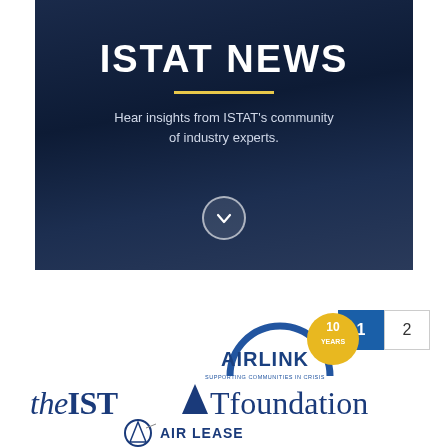[Figure (screenshot): ISTAT NEWS banner with dark blue background. Large bold white text 'ISTAT NEWS', yellow horizontal underline, subtitle text 'Hear insights from ISTAT's community of industry experts.' in white, and a circular chevron-down button at the bottom center.]
[Figure (logo): Airlink 10 Years logo - blue circular arc with 'AIRLINK' text and '10 YEARS' badge in gold/yellow]
[Figure (logo): theISTATfoundation logo in dark blue serif/sans mixed typography]
[Figure (logo): Air Lease logo with circular A symbol]